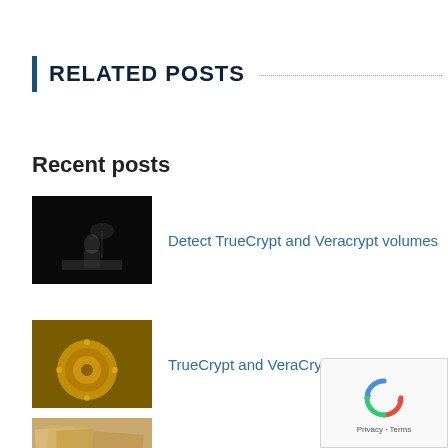RELATED POSTS
Recent posts
Detect TrueCrypt and Veracrypt volumes
TrueCrypt and VeraCrypt
Building wordlists from Forensic Images